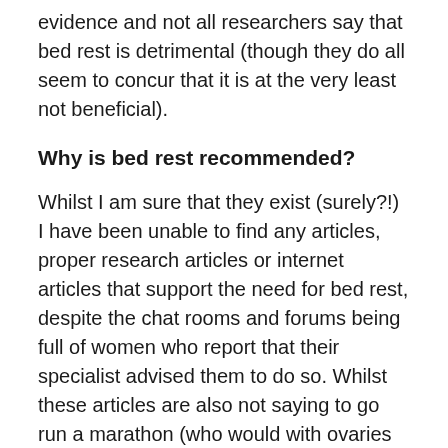evidence and not all researchers say that bed rest is detrimental (though they do all seem to concur that it is at the very least not beneficial).
Why is bed rest recommended?
Whilst I am sure that they exist (surely?!) I have been unable to find any articles, proper research articles or internet articles that support the need for bed rest, despite the chat rooms and forums being full of women who report that their specialist advised them to do so. Whilst these articles are also not saying to go run a marathon (who would with ovaries the sizes of oranges) why are a lot of women undergoing embryo transfers still be advised to do